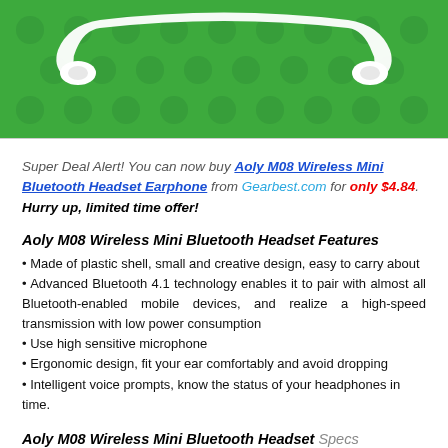[Figure (photo): Product photo of white Aoly M08 Wireless Mini Bluetooth Headset Earphone on green Lego-style background]
Super Deal Alert! You can now buy Aoly M08 Wireless Mini Bluetooth Headset Earphone from Gearbest.com for only $4.84. Hurry up, limited time offer!
Aoly M08 Wireless Mini Bluetooth Headset Features
• Made of plastic shell, small and creative design, easy to carry about
• Advanced Bluetooth 4.1 technology enables it to pair with almost all Bluetooth-enabled mobile devices, and realize a high-speed transmission with low power consumption
• Use high sensitive microphone
• Ergonomic design, fit your ear comfortably and avoid dropping
• Intelligent voice prompts, know the status of your headphones in time.
Aoly M08 Wireless Mini Bluetooth Headset Specs
Brand: Aoly
Model: M08